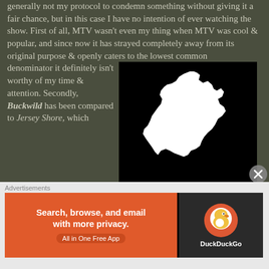generally not my protocol to condemn something without giving it a fair chance, but in this case I have no intention of ever watching the show. First of all, MTV wasn't even my thing when MTV was cool & popular, and since now it has strayed completely away from its original purpose & openly caters to the lowest common denominator it definitely isn't worthy of my time & attention. Secondly, Buckwild has been compared to Jersey Shore, which is kind of like trying to get someone to taste your cooking by comparing it to vomit. No thank you. And finally, you must understand that I am born & bred in West Virginia. I personally are of the
[Figure (map): White silhouette of West Virginia state on a black background]
Advertisements
[Figure (infographic): DuckDuckGo advertisement banner: 'Search, browse, and email with more privacy. All in One Free App' on orange background with DuckDuckGo logo on dark background]